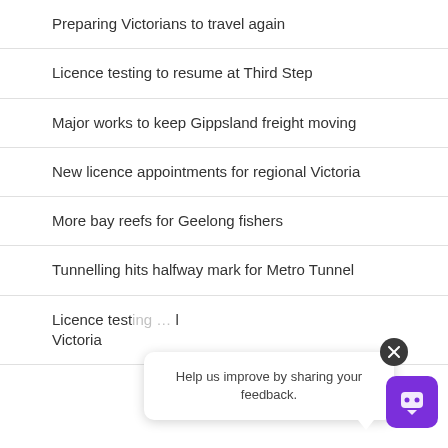Preparing Victorians to travel again
Licence testing to resume at Third Step
Major works to keep Gippsland freight moving
New licence appointments for regional Victoria
More bay reefs for Geelong fishers
Tunnelling hits halfway mark for Metro Tunnel
Licence testing … Victoria